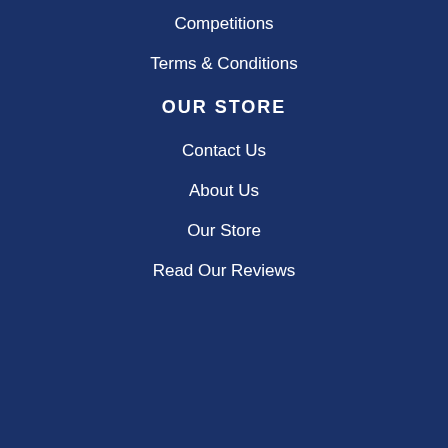Competitions
Terms & Conditions
OUR STORE
Contact Us
About Us
Our Store
Read Our Reviews
[Figure (screenshot): Cookie consent popup overlay with close button X, cookie notice text, opt-in link, and Accept Cookies button]
This site uses cookies to provide and improve your shopping experience. If you want to benefit from this improved service, please opt-in. Cookies Page.
I opt-in to a better browsing experience
ACCEPT COOKIES
[Figure (logo): Mastercard logo - two overlapping circles, red and orange]
[Figure (logo): Visa logo - blue VISA text]
Jellyegg Registered offic
Company Re